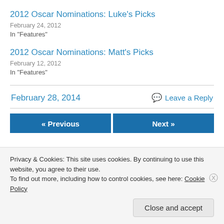2012 Oscar Nominations: Luke's Picks
February 24, 2012
In "Features"
2012 Oscar Nominations: Matt's Picks
February 12, 2012
In "Features"
February 28, 2014
Leave a Reply
« Previous
Next »
Privacy & Cookies: This site uses cookies. By continuing to use this website, you agree to their use.
To find out more, including how to control cookies, see here: Cookie Policy
Close and accept